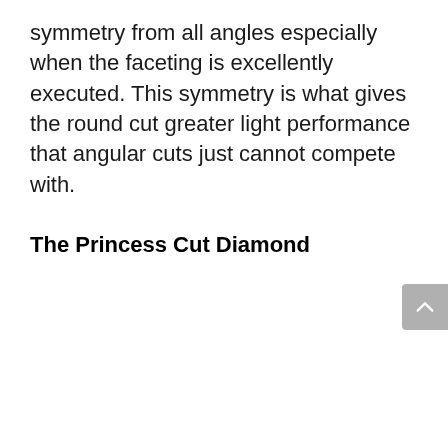symmetry from all angles especially when the faceting is excellently executed. This symmetry is what gives the round cut greater light performance that angular cuts just cannot compete with.
The Princess Cut Diamond